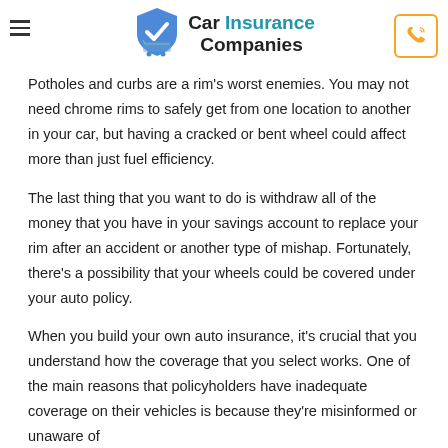Car Insurance Companies
Potholes and curbs are a rim's worst enemies. You may not need chrome rims to safely get from one location to another in your car, but having a cracked or bent wheel could affect more than just fuel efficiency.
The last thing that you want to do is withdraw all of the money that you have in your savings account to replace your rim after an accident or another type of mishap. Fortunately, there's a possibility that your wheels could be covered under your auto policy.
When you build your own auto insurance, it's crucial that you understand how the coverage that you select works. One of the main reasons that policyholders have inadequate coverage on their vehicles is because they're misinformed or unaware of